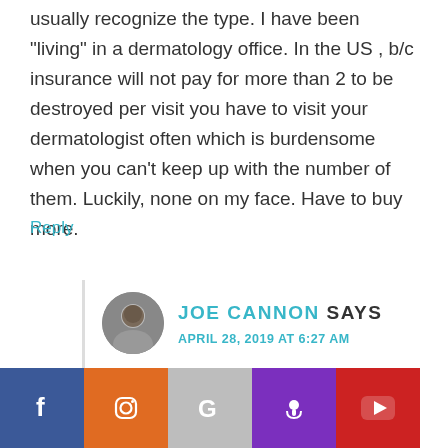usually recognize the type. I have been "living" in a dermatology office. In the US , b/c insurance will not pay for more than 2 to be destroyed per visit you have to visit your dermatologist often which is burdensome when you can't keep up with the number of them. Luckily, none on my face. Have to buy more.
Reply
JOE CANNON SAYS
APRIL 28, 2019 AT 6:27 AM
Hi Andrea, thanks for sharing your experiences. [Elysium] Basis has helped you. I wish someone would look into this with clinical research. I have not heard of Basis helping skin